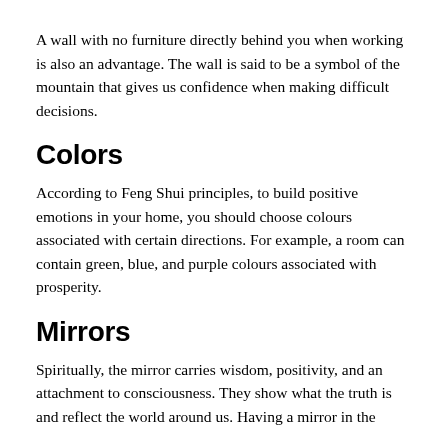A wall with no furniture directly behind you when working is also an advantage. The wall is said to be a symbol of the mountain that gives us confidence when making difficult decisions.
Colors
According to Feng Shui principles, to build positive emotions in your home, you should choose colours associated with certain directions. For example, a room can contain green, blue, and purple colours associated with prosperity.
Mirrors
Spiritually, the mirror carries wisdom, positivity, and an attachment to consciousness. They show what the truth is and reflect the world around us. Having a mirror in the